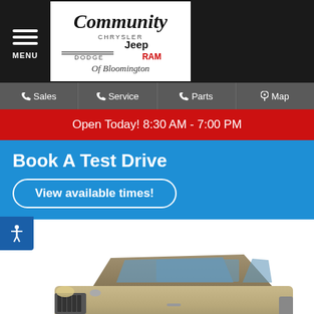MENU | Community Chrysler Jeep Dodge RAM Of Bloomington
Sales | Service | Parts | Map
Open Today! 8:30 AM - 7:00 PM
Book A Test Drive
View available times!
[Figure (photo): Silver Jeep Grand Cherokee SUV, front three-quarter view]
Live Chat
Text Us